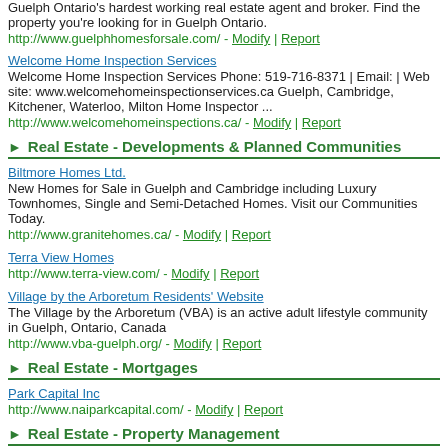Guelph Ontario's hardest working real estate agent and broker. Find the property you're looking for in Guelph Ontario.
http://www.guelphhomesforsale.com/ - Modify | Report
Welcome Home Inspection Services
Welcome Home Inspection Services Phone: 519-716-8371 | Email: | Web site: www.welcomehomeinspectionservices.ca Guelph, Cambridge, Kitchener, Waterloo, Milton Home Inspector ...
http://www.welcomehomeinspections.ca/ - Modify | Report
Real Estate - Developments & Planned Communities
Biltmore Homes Ltd.
New Homes for Sale in Guelph and Cambridge including Luxury Townhomes, Single and Semi-Detached Homes. Visit our Communities Today.
http://www.granitehomes.ca/ - Modify | Report
Terra View Homes
http://www.terra-view.com/ - Modify | Report
Village by the Arboretum Residents' Website
The Village by the Arboretum (VBA) is an active adult lifestyle community in Guelph, Ontario, Canada
http://www.vba-guelph.org/ - Modify | Report
Real Estate - Mortgages
Park Capital Inc
http://www.naiparkcapital.com/ - Modify | Report
Real Estate - Property Management